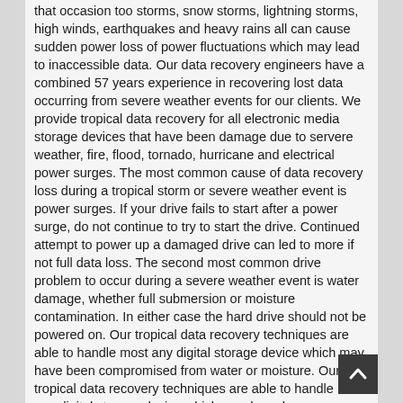that occasion too storms, snow storms, lightning storms, high winds, earthquakes and heavy rains all can cause sudden power loss of power fluctuations which may lead to inaccessible data. Our data recovery engineers have a combined 57 years experience in recovering lost data occurring from severe weather events for our clients. We provide tropical data recovery for all electronic media storage devices that have been damage due to servere weather, fire, flood, tornado, hurricane and electrical power surges. The most common cause of data recovery loss during a tropical storm or severe weather event is power surges. If your drive fails to start after a power surge, do not continue to try to start the drive. Continued attempt to power up a damaged drive can led to more if not full data loss. The second most common drive problem to occur during a severe weather event is water damage, whether full submersion or moisture contamination. In either case the hard drive should not be powered on. Our tropical data recovery techniques are able to handle most any digital storage device which may have been compromised from water or moisture. Our tropical data recovery techniques are able to handle most any digital storage device which may have been compromised from water or moisture.
We provide Home user Data Recovery for all personal hard drives, external drives, raid arrays, Flash Drives and NAS Devices. We have a simple Flat Rate data recovery price based on the drive size. We have no other charges other than overnight return shipping if required by the client. Our flat rate data recovery price is generally 50 to 60 % below our competitors. Weather your drive requires a Level 1 recovery, Level 2 Recovery or a Level 3